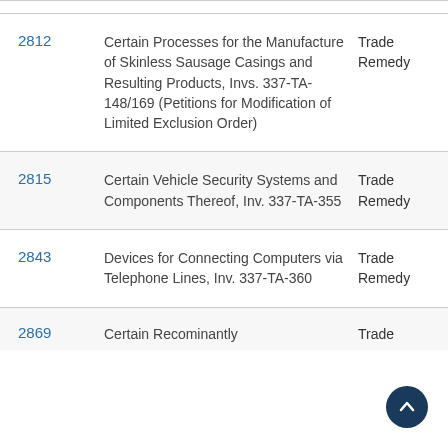| Number | Description | Type |
| --- | --- | --- |
| 2812 | Certain Processes for the Manufacture of Skinless Sausage Casings and Resulting Products, Invs. 337-TA-148/169 (Petitions for Modification of Limited Exclusion Order) | Trade Remedy |
| 2815 | Certain Vehicle Security Systems and Components Thereof, Inv. 337-TA-355 | Trade Remedy |
| 2843 | Devices for Connecting Computers via Telephone Lines, Inv. 337-TA-360 | Trade Remedy |
| 2869 | Certain Recominantly... | Trade |